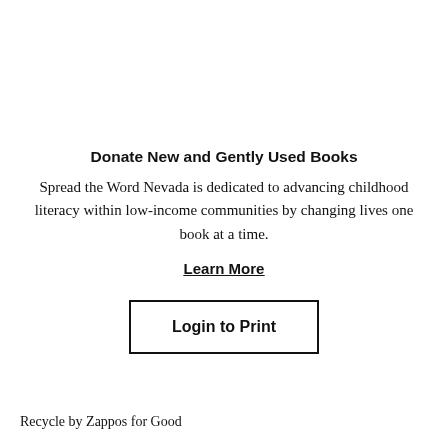Donate New and Gently Used Books
Spread the Word Nevada is dedicated to advancing childhood literacy within low-income communities by changing lives one book at a time.
Learn More
Login to Print
Recycle by Zappos for Good